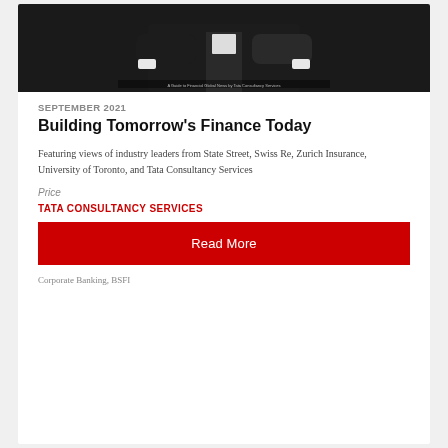[Figure (photo): A person in a dark suit with arms crossed, photographed from chest up against a dark background. Small text overlay at the bottom of the image.]
SEPTEMBER 2021
Building Tomorrow's Finance Today
Featuring views of industry leaders from State Street, Swiss Re, Zurich Insurance, University of Toronto, and Tata Consultancy Services
Price
TATA CONSULTANCY SERVICES
Read More
Corporate Banking, BSFI